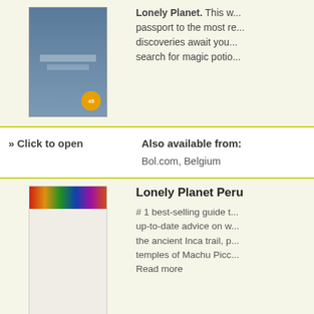[Figure (photo): Book cover image partially visible at top, showing a person on water with fishing gear]
Lonely Planet. This w... passport to the most r... discoveries await you... search for magic potio...
» Click to open
Also available from:
Bol.com, Belgium
[Figure (photo): Lonely Planet Peru book cover with colorful striped pattern at top]
Lonely Planet Peru
# 1 best-selling guide t... up-to-date advice on w... the ancient Inca trail, p... temples of Machu Picc... Read more
» Click to open
Also available from:
Bol.com, Belgium
[Figure (photo): Wandelgids Peru's Cordilleras Blanca & Huayhuash book cover with mountaineer on snowy peak]
Wandelgids Peru's C...
Read more